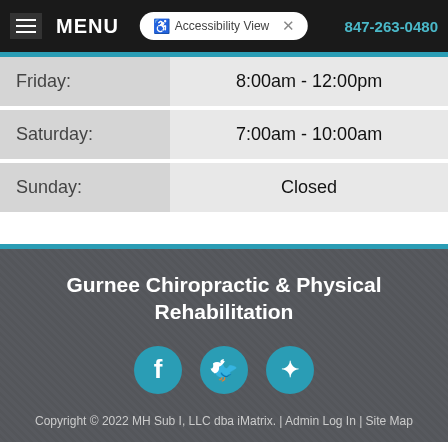MENU | Accessibility View | 847-263-0480
| Day | Hours |
| --- | --- |
| Friday: | 8:00am - 12:00pm |
| Saturday: | 7:00am - 10:00am |
| Sunday: | Closed |
Gurnee Chiropractic & Physical Rehabilitation
Copyright © 2022 MH Sub I, LLC dba iMatrix. | Admin Log In | Site Map